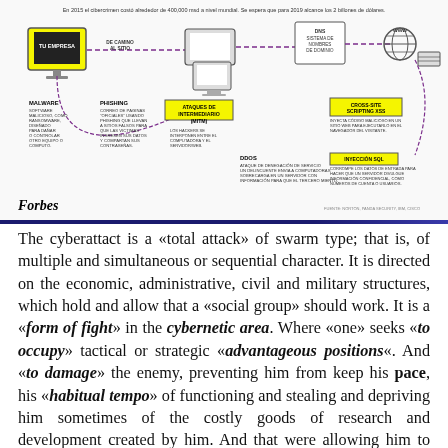[Figure (infographic): Cybercrime infographic showing types of cyberattacks: Malware, Phishing, Ataques de Intermediario (MitM), Cross-site Scripting XSS, DDoS, Inyección SQL, illustrated with network diagrams and labeled boxes. Forbes logo at bottom left. Spanish caption at top.]
The cyberattact is a «total attack» of swarm type; that is, of multiple and simultaneous or sequential character. It is directed on the economic, administrative, civil and military structures, which hold and allow that a «social group» should work. It is a «form of fight» in the cybernetic area. Where «one» seeks «to occupy» tactical or strategic «advantageous positions«. And «to damage» the enemy, preventing him from keep his pace, his «habitual tempo» of functioning and stealing and depriving him sometimes of the costly goods of research and development created by him. And that were allowing him to keep a competitive advantage in national or international commerce, in the industrial...